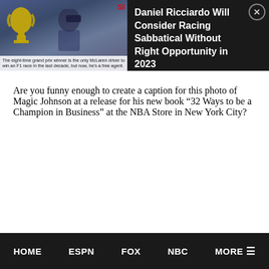[Figure (photo): Sports news banner with a racing driver photo on the left (dark background, trophy visible, caption overlay at bottom: 'The eight-time grand prix winner is the only McLaren driver to win an F1 race in the last decade, but now, he's a free agent.') and SI logo in red top-right of the photo area. Right side has dark background with headline text and a close button.]
Daniel Ricciardo Will Consider Racing Sabbatical Without Right Opportunity in 2023
Are you funny enough to create a caption for this photo of Magic Johnson at a release for his new book “32 Ways to be a Champion in Business” at the NBA Store in New York City?
HOME   ESPN   FOX   NBC   MORE ☰